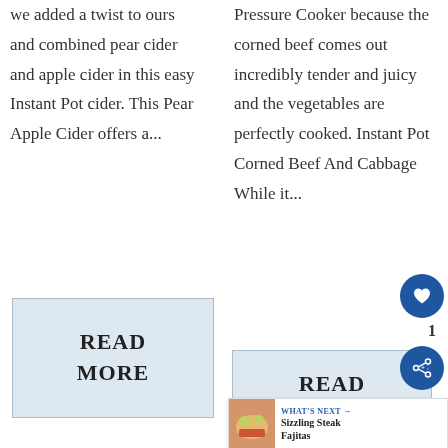we added a twist to ours and combined pear cider and apple cider in this easy Instant Pot cider. This Pear Apple Cider offers a...
Pressure Cooker because the corned beef comes out incredibly tender and juicy and the vegetables are perfectly cooked. Instant Pot Corned Beef And Cabbage While it...
READ MORE
READ MORE
[Figure (other): Heart favorite button (circular blue icon with white heart), count badge showing 1, and share button (circular blue icon with share symbol)]
[Figure (other): What's Next banner showing Sizzling Steak Fajitas with a food photo thumbnail]